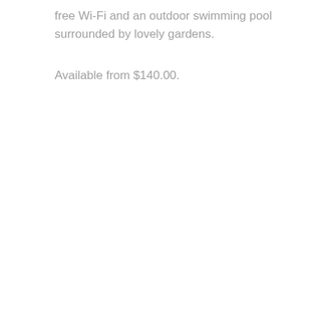free Wi-Fi and an outdoor swimming pool surrounded by lovely gardens.
Available from $140.00.